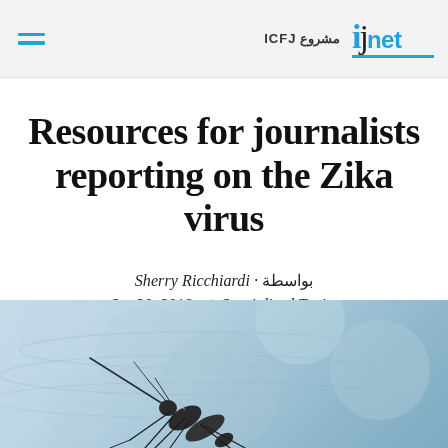ijnet — مشروع ICFJ
Resources for journalists reporting on the Zika virus
بواسطة · Sherry Ricchiardi
Oct 30, 2018 في Specialized Topics
[Figure (photo): Close-up macro photo of a mosquito against a blurred blue background]